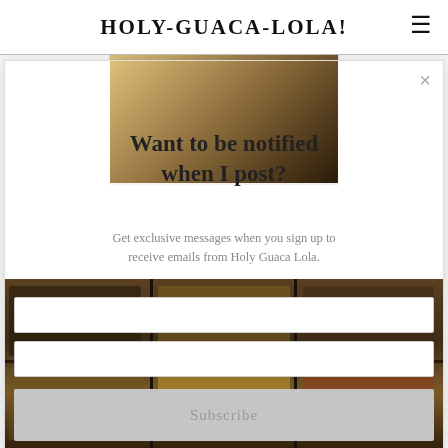HOLY-GUACA-LOLA!
[Figure (photo): Food blog website screenshot showing a modal popup overlay on top of food/bakery photos. The modal asks 'Want to be notified when I post?' with a subscription form.]
Want to be notified when I post?
Get exclusive messages when you sign up to receive emails from Holy Guaca Lola.
Subscribe